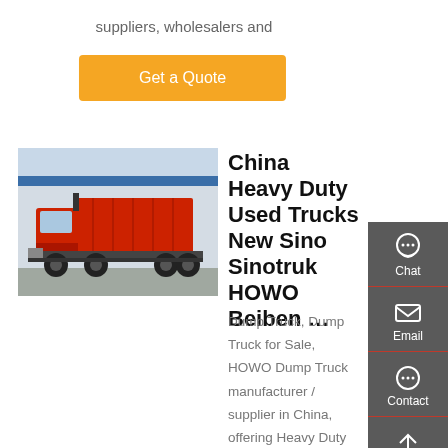suppliers, wholesalers and
Get a Quote
[Figure (photo): Red heavy duty dump truck (Sinotruk HOWO Beiben) parked in an outdoor industrial area, side view showing the tipper body.]
China Heavy Duty Used Trucks New Sino Sinotruk HOWO Beiben …
Dump Truck, Dump Truck for Sale, HOWO Dump Truck manufacturer / supplier in China, offering Heavy Duty Used Trucks New Sino Sinotruk HOWO Beiben 6X4 Dumper Tipper Tipping Dump Truck, 3 Axle 4